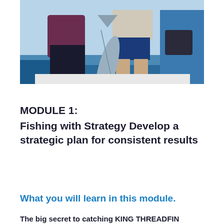[Figure (photo): Two people standing on a boat holding a large fish (appears to be a threadfin/king threadfin), one wearing dark pants and maroon top, other in blue shorts. Outdoor fishing scene.]
MODULE 1:
Fishing with Strategy Develop a strategic plan for consistent results
What you will learn in this module.
The big secret to catching KING THREADFIN